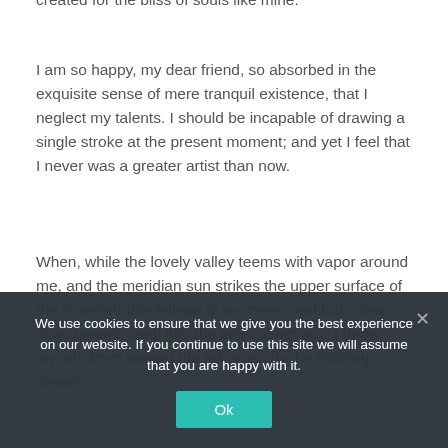created for the bliss of souls like mine.
I am so happy, my dear friend, so absorbed in the exquisite sense of mere tranquil existence, that I neglect my talents. I should be incapable of drawing a single stroke at the present moment; and yet I feel that I never was a greater artist than now.
When, while the lovely valley teems with vapor around me, and the meridian sun strikes the upper surface of the impenetrable foliage of my trees, and but a few stray gleams steal into the inner sanctuary, I throw myself down among the tall grass by the trickling stream;
We use cookies to ensure that we give you the best experience on our website. If you continue to use this site we will assume that you are happy with it.